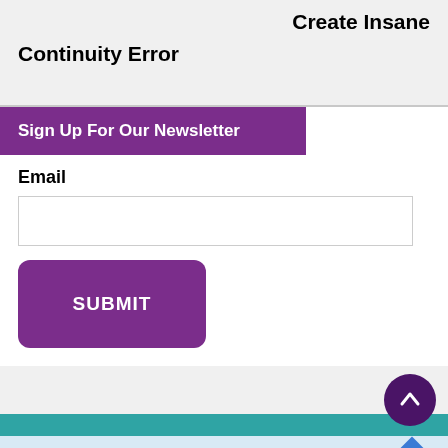Create Insane
Continuity Error
Sign Up For Our Newsletter
Email
[Figure (screenshot): Email input field (empty text box)]
[Figure (screenshot): Submit button with purple background and rounded corners]
[Figure (screenshot): Scroll to top circular button with upward arrow]
[Figure (infographic): Topgolf advertisement banner with logo, text 'Topgolf® - Family Fun', play/close icons on left and blue diamond navigation icon on right]